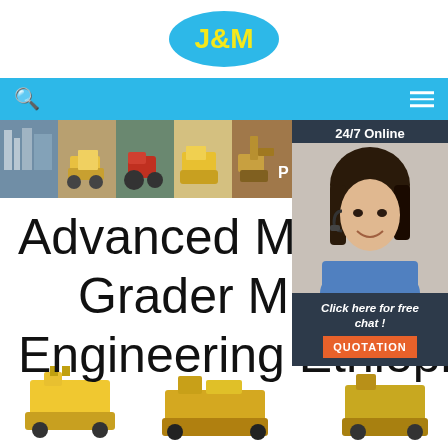[Figure (logo): J&M company logo — yellow text on blue oval background]
[Figure (screenshot): Website navigation bar with search icon and hamburger menu on blue background]
[Figure (photo): Banner strip showing construction and mining equipment: plant, loader, tractor, road roller, excavator]
[Figure (photo): 24/7 Online chat widget with woman wearing headset and 'Click here for free chat!' and QUOTATION button]
Advanced Mini Road Grader Mining Engineering Ethiopia
[Figure (photo): Product thumbnail images of small mining/road machinery at page bottom]